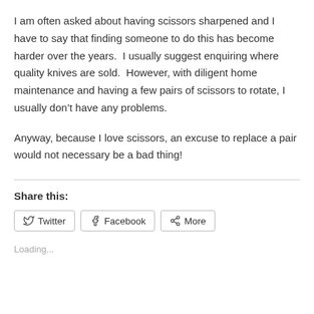I am often asked about having scissors sharpened and I have to say that finding someone to do this has become harder over the years.  I usually suggest enquiring where quality knives are sold.  However, with diligent home maintenance and having a few pairs of scissors to rotate, I usually don’t have any problems.
Anyway, because I love scissors, an excuse to replace a pair would not necessary be a bad thing!
Share this:
Loading...